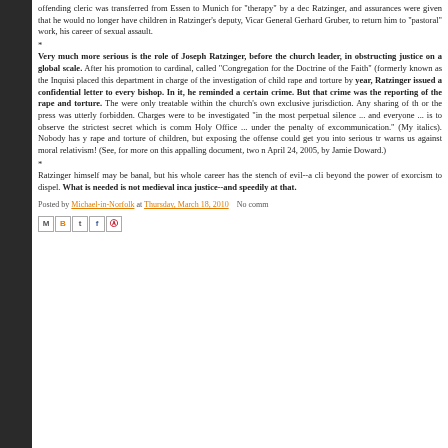offending cleric was transferred from Essen to Munich for "therapy" by a decision of Ratzinger, and assurances were given that he would no longer have children in his care. But Ratzinger's deputy, Vicar General Gerhard Gruber, to return him to "pastoral" work, enabling his career of sexual assault.
*
Very much more serious is the role of Joseph Ratzinger, before the church's current leader, in obstructing justice on a global scale. After his promotion to cardinal, he was called "Congregation for the Doctrine of the Faith" (formerly known as the Inquisition). He placed this department in charge of the investigation of child rape and torture by priests. In a year, Ratzinger issued a confidential letter to every bishop. In it, he reminded them of a certain crime. But that crime was the reporting of the rape and torture. The offenses were only treatable within the church's own exclusive jurisdiction. Any sharing of this with police or the press was utterly forbidden. Charges were to be investigated "in the most secretive way ... perpetual silence ... and everyone ... is to observe the strictest secret which is commonly regarded as a Holy Office ... under the penalty of excommunication." (My italics). Nobody has yet been jailed for rape and torture of children, but exposing the offense could get you into serious trouble. This man warns us against moral relativism! (See, for more on this appalling document, two news articles from April 24, 2005, by Jamie Doward.)
*
Ratzinger himself may be banal, but his whole career has the stench of evil--a cli beyond the power of exorcism to dispel. What is needed is not medieval inca justice--and speedily at that.
Posted by Michael-in-Norfolk at Thursday, March 18, 2010   No comm
[Figure (other): Social sharing icons: Mail, Blogger, Twitter, Facebook, Pinterest]